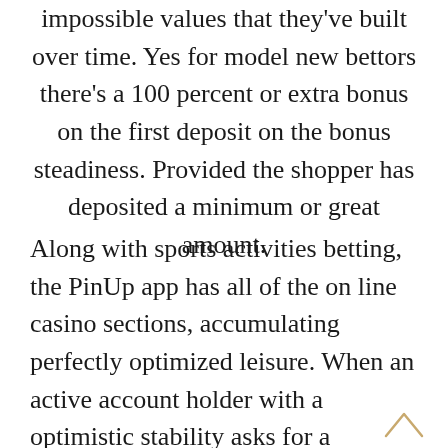impossible values that they've built over time. Yes for model new bettors there's a 100 percent or extra bonus on the first deposit on the bonus steadiness. Provided the shopper has deposited a minimum or great amount.
Along with sports activities betting, the PinUp app has all of the on line casino sections, accumulating perfectly optimized leisure. When an active account holder with a optimistic stability asks for a withdrawal, Pin-Up course of the request promptly. The security